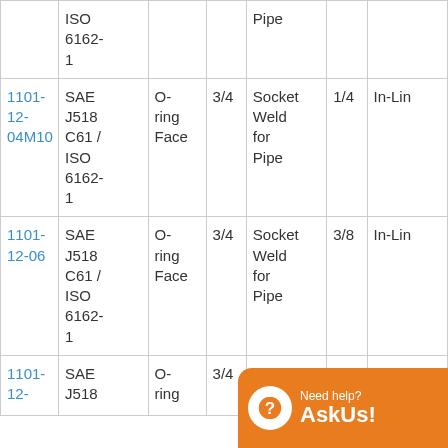| Part No. | Standard | Face Type | Size | End 1 | Size | Type |
| --- | --- | --- | --- | --- | --- | --- |
|  | ISO 6162-1 |  |  | Pipe |  |  |
| 1101-12-04M10 | SAE J518 C61 / ISO 6162-1 | O-ring Face | 3/4 | Socket Weld for Pipe | 1/4 | In-Line |
| 1101-12-06 | SAE J518 C61 / ISO 6162-1 | O-ring Face | 3/4 | Socket Weld for Pipe | 3/8 | In-Line |
| 1101-12- | SAE J518 | O-ring | 3/4 | Socket Weld |  |  |